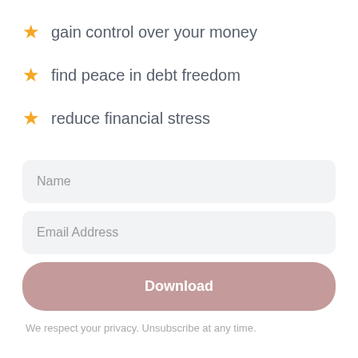gain control over your money
find peace in debt freedom
reduce financial stress
Name
Email Address
Download
We respect your privacy. Unsubscribe at any time.